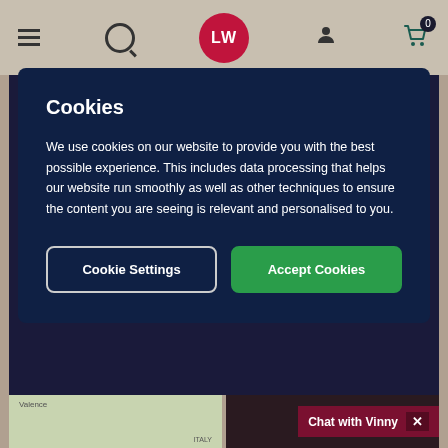LW website header with hamburger menu, search, logo, user icon, and cart (0)
Particularly enjoyable in the late Summer sun"
Online Review
For the 2019 vintage
Cookies
We use cookies on our website to provide you with the best possible experience. This includes data processing that helps our website run smoothly as well as other techniques to ensure the content you are seeing is relevant and personalised to you.
Cookie Settings
Accept Cookies
Chat with Vinny  ✕